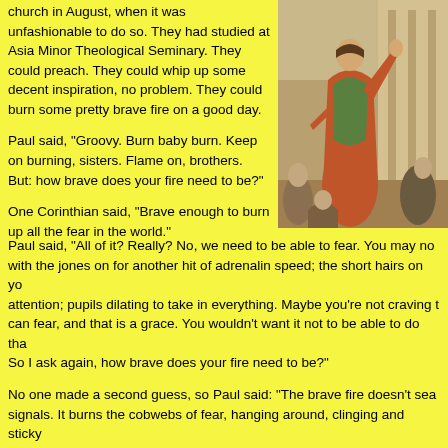church in August, when it was unfashionable to do so. They had studied at Asia Minor Theological Seminary. They could preach. They could whip up some decent inspiration, no problem. They could burn some pretty brave fire on a good day.
[Figure (photo): Renaissance painting of a robed figure gesturing dramatically, appearing to be in a classical or biblical scene with other figures and architectural elements in the background.]
Paul said, "Groovy. Burn baby burn. Keep on burning, sisters. Flame on, brothers. But: how brave does your fire need to be?"
One Corinthian said, "Brave enough to burn up all the fear in the world."
Paul said, "All of it? Really? No, we need to be able to fear. You may not be with the jones on for another hit of adrenalin speed; the short hairs on yo attention; pupils dilating to take in everything. Maybe you're not craving t can fear, and that is a grace. You wouldn't want it not to be able to do tha So I ask again, how brave does your fire need to be?"
No one made a second guess, so Paul said: "The brave fire doesn't sea signals. It burns the cobwebs of fear, hanging around, clinging and sticky gracious gift-work is done. That's a brave fire that can burn all that leftov sticking epiphenomena of fear. The brave fire burns what just isn't neede conscience that doth make cowards of us all, burns us into our courage